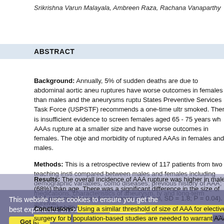Srikrishna Varun Malayala, Ambreen Raza, Rachana Vanaparthy
ABSTRACT
Background: Annually, 5% of sudden deaths are due to abdominal aortic aneurysm (AAA) ruptures have worse outcomes in females than males and the aneurysms rupture... States Preventive Services Task Force (USPSTF) recommends a one-time ultra... smoked. There is insufficient evidence to screen females aged 65 - 75 years wh... AAAs rupture at a smaller size and have worse outcomes in females. The obje... and morbidity of ruptured AAAs in females and males.
Methods: This is a retrospective review of 117 patients from two teaching institu... compared between males and females including demographic variables, como... diseases; previous history of AAA; medications, characteristics of aneurysm, ty... and long-term survival.
Results: The overall incidence of AAA rupture was higher in males (68%) than... age. There was a significant difference in the size of AAA rupture between fema... (mean = 8.2 cm, SD = 1.8; P = 0.04). The probability to undergo surgery for rup... males (P = 0.03). Females had higher overall mortality (P = 0.001), postoperati... (ICU) stay, incidence of postoperative complications, use of vasopressors and r...
Conclusions: Using a similar threshold of size of AAA for elective surgery for b... population-based studies are needed to warrant AAA screening for high-risk fer...